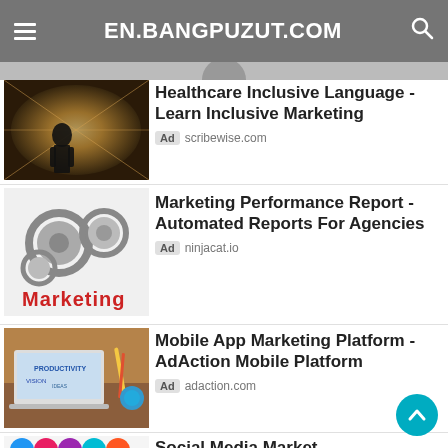EN.BANGPUZUT.COM
[Figure (photo): Person standing in front of a tunnel of blurred light/motion blur, viewed from behind]
Healthcare Inclusive Language - Learn Inclusive Marketing
Ad scribewise.com
[Figure (photo): 3D gears/cogs with red 'Marketing' text in foreground]
Marketing Performance Report - Automated Reports For Agencies
Ad ninjacat.io
[Figure (photo): Laptop on desk showing productivity/vision words, notebooks and pencils around it]
Mobile App Marketing Platform - AdAction Mobile Platform
Ad adaction.com
[Figure (illustration): Colorful social media icons/app icons grid]
Social Media Marketing - STN Agency